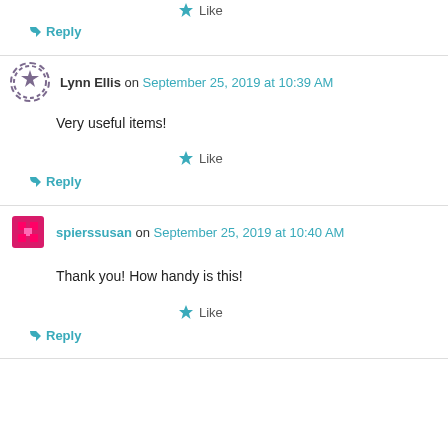★ Like
↳ Reply
Lynn Ellis on September 25, 2019 at 10:39 AM
Very useful items!
★ Like
↳ Reply
spierssusan on September 25, 2019 at 10:40 AM
Thank you! How handy is this!
★ Like
↳ Reply